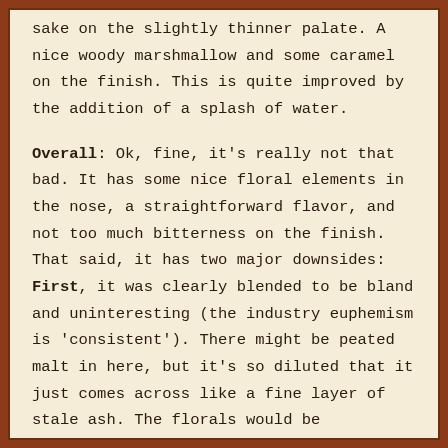sake on the slightly thinner palate. A nice woody marshmallow and some caramel on the finish. This is quite improved by the addition of a splash of water.
Overall: Ok, fine, it's really not that bad. It has some nice floral elements in the nose, a straightforward flavor, and not too much bitterness on the finish. That said, it has two major downsides: First, it was clearly blended to be bland and uninteresting (the industry euphemism is 'consistent'). There might be peated malt in here, but it's so diluted that it just comes across like a fine layer of stale ash. The florals would be interesting if they weren't overpowered by a wash of cerealy grain.